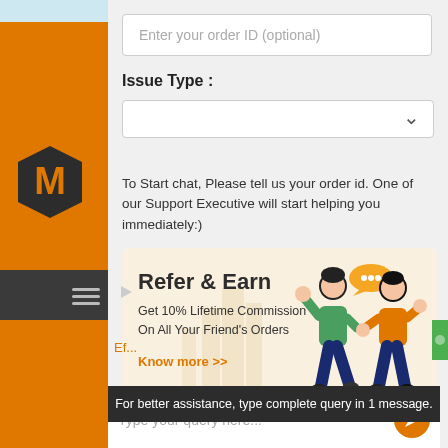Enter your order ID (optional)
Issue Type :
To Start chat, Please tell us your order id. One of our Support Executive will start helping you immediately:)
[Figure (infographic): Refer & Earn promotional banner with illustration of two people talking. Text: 'Refer & Earn', 'Get 10% Lifetime Commission On All Your Friend's Orders', 'Know more >>']
For better assistance, type complete query in 1 message.
Type your query here...